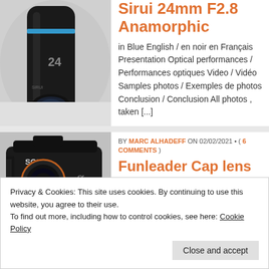[Figure (photo): Close-up photo of a Sirui 24mm anamorphic lens, dark metallic body with blue ring, shot against white background]
Sirui 24mm F2.8 Anamorphic
in Blue English / en noir en Français Presentation Optical performances / Performances optiques Video / Vidéo Samples photos / Exemples de photos Conclusion / Conclusion All photos , taken [...]
[Figure (photo): Photo of a Sony Alpha 7 III camera body with a Funleader cap lens mounted, shown at slight angle against white/grey background]
BY MARC ALHADEFF ON 02/02/2021 • ( 6 COMMENTS )
Funleader Cap lens 18mm F8
Privacy & Cookies: This site uses cookies. By continuing to use this website, you agree to their use.
To find out more, including how to control cookies, see here: Cookie Policy